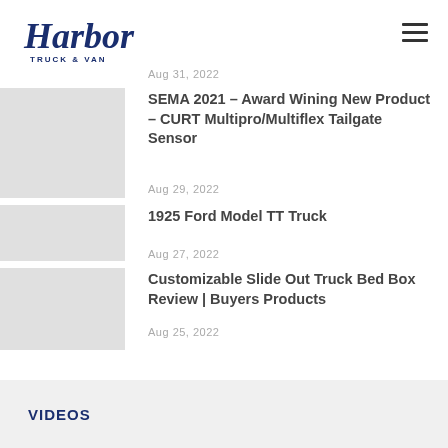Harbor Truck & Van
Aug 31, 2022
SEMA 2021 – Award Wining New Product – CURT Multipro/Multiflex Tailgate Sensor
Aug 29, 2022
1925 Ford Model TT Truck
Aug 27, 2022
Customizable Slide Out Truck Bed Box Review | Buyers Products
Aug 25, 2022
VIDEOS